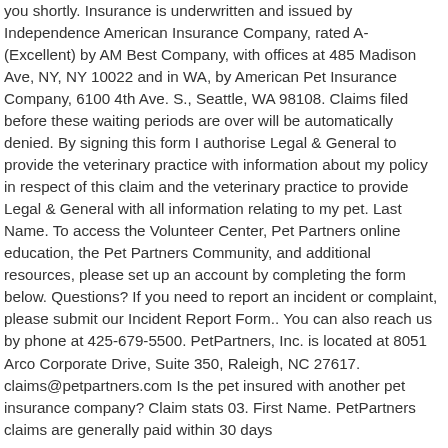you shortly. Insurance is underwritten and issued by Independence American Insurance Company, rated A- (Excellent) by AM Best Company, with offices at 485 Madison Ave, NY, NY 10022 and in WA, by American Pet Insurance Company, 6100 4th Ave. S., Seattle, WA 98108. Claims filed before these waiting periods are over will be automatically denied. By signing this form I authorise Legal & General to provide the veterinary practice with information about my policy in respect of this claim and the veterinary practice to provide Legal & General with all information relating to my pet. Last Name. To access the Volunteer Center, Pet Partners online education, the Pet Partners Community, and additional resources, please set up an account by completing the form below. Questions? If you need to report an incident or complaint, please submit our Incident Report Form.. You can also reach us by phone at 425-679-5500. PetPartners, Inc. is located at 8051 Arco Corporate Drive, Suite 350, Raleigh, NC 27617. claims@petpartners.com Is the pet insured with another pet insurance company? Claim stats 03. First Name. PetPartners claims are generally paid within 30 days